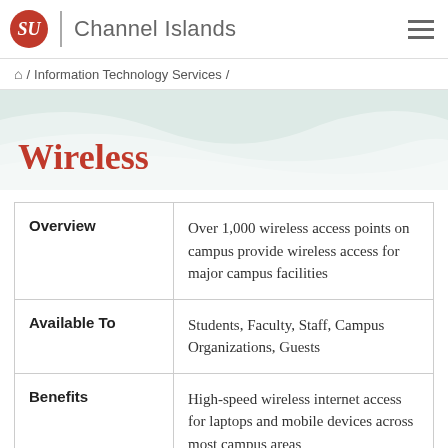CSU Channel Islands
Home / Information Technology Services /
Wireless
|  |  |
| --- | --- |
| Overview | Over 1,000 wireless access points on campus provide wireless access for major campus facilities |
| Available To | Students, Faculty, Staff, Campus Organizations, Guests |
| Benefits | High-speed wireless internet access for laptops and mobile devices across most campus areas The next column appears cut off |